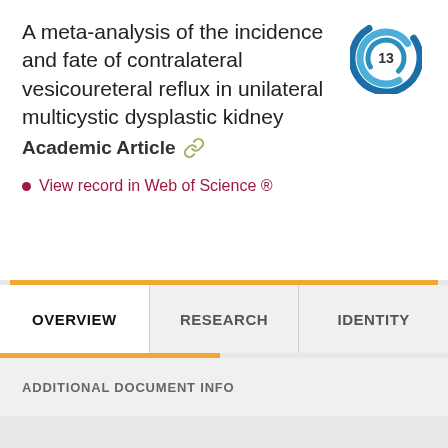A meta-analysis of the incidence and fate of contralateral vesicoureteral reflux in unilateral multicystic dysplastic kidney
Academic Article
[Figure (other): Circular citation badge with blue swirl design and the number 13 in the center]
View record in Web of Science ®
OVERVIEW
RESEARCH
IDENTITY
ADDITIONAL DOCUMENT INFO